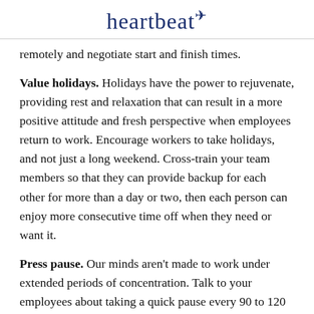heartbeat+
remotely and negotiate start and finish times.
Value holidays. Holidays have the power to rejuvenate, providing rest and relaxation that can result in a more positive attitude and fresh perspective when employees return to work. Encourage workers to take holidays, and not just a long weekend. Cross-train your team members so that they can provide backup for each other for more than a day or two, then each person can enjoy more consecutive time off when they need or want it.
Press pause. Our minds aren't made to work under extended periods of concentration. Talk to your employees about taking a quick pause every 90 to 120 minutes to shift tasks, look away from their computer (if applicable), and shift their focus. They will return to their task with better concentration.
Foster fun. Encourage an atmosphere of enjoyment in the office by bringing fun into the workplace. Plan a team lunch or barbecue at work, move your team meeting outside or to the local cafe on a nice day, and celebrate individual and